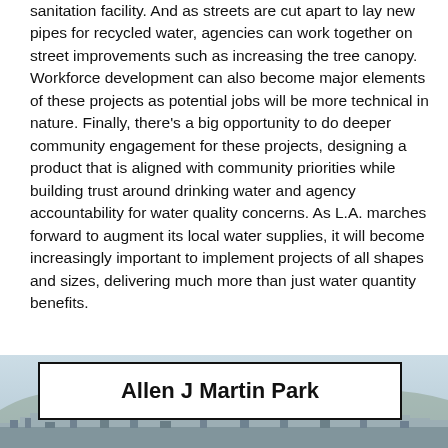sanitation facility. And as streets are cut apart to lay new pipes for recycled water, agencies can work together on street improvements such as increasing the tree canopy. Workforce development can also become major elements of these projects as potential jobs will be more technical in nature. Finally, there's a big opportunity to do deeper community engagement for these projects, designing a product that is aligned with community priorities while building trust around drinking water and agency accountability for water quality concerns. As L.A. marches forward to augment its local water supplies, it will become increasingly important to implement projects of all shapes and sizes, delivering much more than just water quantity benefits.
[Figure (photo): Aerial photograph of a city or suburban area with buildings and hills in the background, with a white label box overlaid reading 'Allen J Martin Park']
Allen J Martin Park